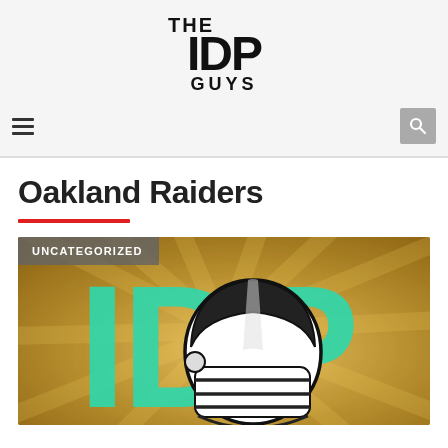THE IDP GUYS — navigation header with logo, hamburger menu, and search button
Oakland Raiders
[Figure (illustration): Article thumbnail showing 'IDP' large teal letters on a gold background with a football player helmet illustration in black and white line art. Badge reads 'UNCATEGORIZED'.]